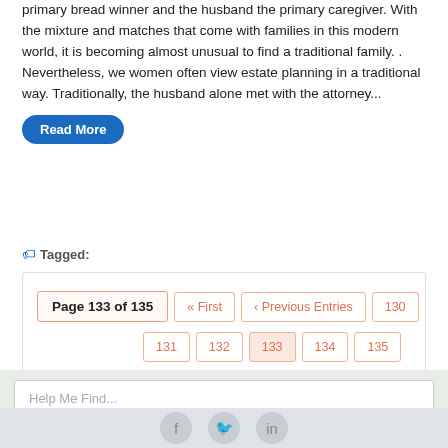primary bread winner and the husband the primary caregiver. With the mixture and matches that come with families in this modern world, it is becoming almost unusual to find a traditional family. . Nevertheless, we women often view estate planning in a traditional way. Traditionally, the husband alone met with the attorney...
Read More
Tagged:
Page 133 of 135  « First  ‹ Previous Entries  130  131  132  133  134  135  Next Entries ›
Help Me Find...
Search NABRW.com